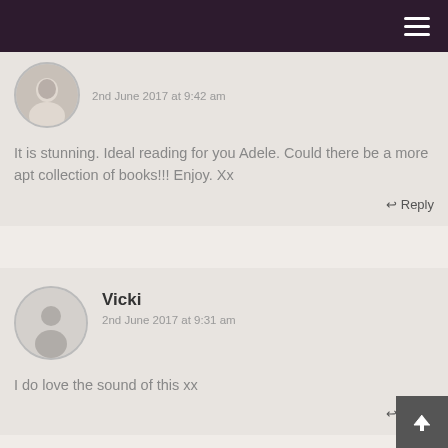2nd June 2017 at 9:42 am
It is stunning. Ideal reading for you Adele. Could there be a more apt collection of books!!! Enjoy. Xx
↩ Reply
Vicki
2nd June 2017 at 9:31 am
I do love the sound of this xx
↩ Reply